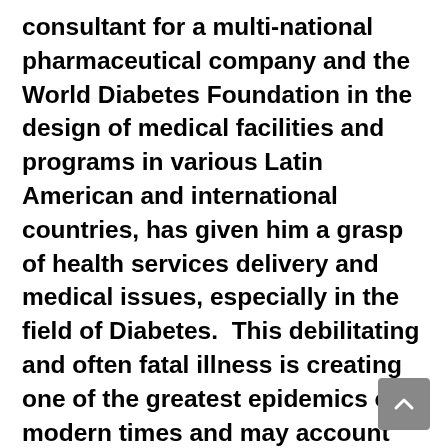consultant for a multi-national pharmaceutical company and the World Diabetes Foundation in the design of medical facilities and programs in various Latin American and international countries, has given him a grasp of health services delivery and medical issues, especially in the field of Diabetes.  This debilitating and often fatal illness is creating one of the greatest epidemics of modern times and may account for a major part of the company's business.  As a service-disabled Vietnam War veteran, he has been a frequent patient of VA hospitals and other